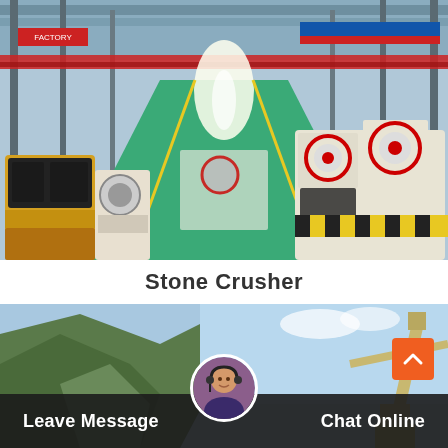[Figure (photo): Interior of a large industrial factory with stone crusher machines lined up on both sides of a wide green-floor aisle. Orange overhead cranes visible at ceiling level. Yellow and white jaw crushers and impact crushers on display.]
Stone Crusher
[Figure (photo): Outdoor scene showing a hillside quarry with green rocky terrain, a crane arm visible on the right side against a clear sky.]
[Figure (photo): Customer service representative avatar — woman wearing headset, circular profile photo overlaid on bottom bar.]
Leave Message
Chat Online